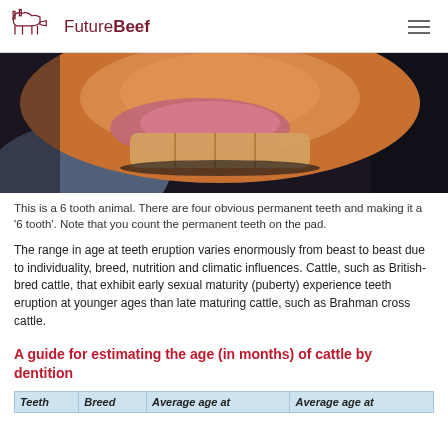FutureBeef
[Figure (photo): Close-up photo of cattle mouth/teeth showing pink gums and large permanent teeth against a dark background]
This is a 6 tooth animal. There are four obvious permanent teeth and making it a '6 tooth'. Note that you count the permanent teeth on the pad.
The range in age at teeth eruption varies enormously from beast to beast due to individuality, breed, nutrition and climatic influences. Cattle, such as British-bred cattle, that exhibit early sexual maturity (puberty) experience teeth eruption at younger ages than late maturing cattle, such as Brahman cross cattle.
A guide for estimating the age (in months) of cattle by dentition
| Teeth | Breed | Average age at | Average age at |
| --- | --- | --- | --- |